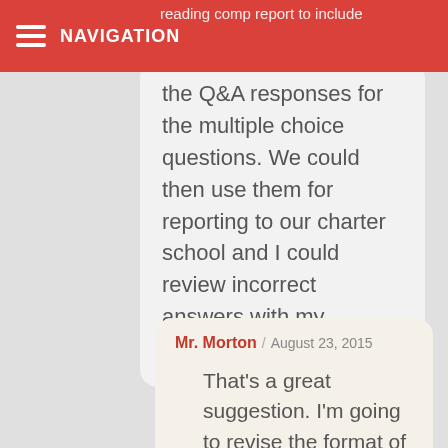NAVIGATION
reading comp report to include the Q&A responses for the multiple choice questions. We could then use them for reporting to our charter school and I could review incorrect answers with my student.
Mr. Morton / August 23, 2015
That's a great suggestion. I'm going to revise the format of these quizzes and add some new ones this year. I will